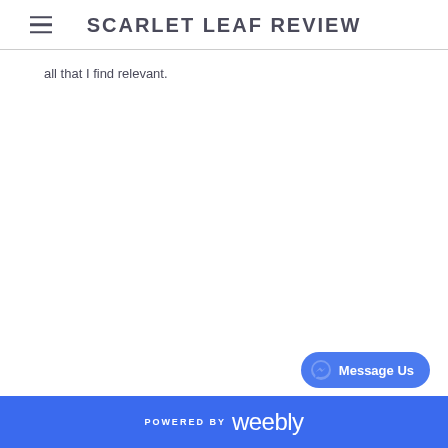SCARLET LEAF REVIEW
all that I find relevant.
[Figure (other): Message Us button with Messenger icon]
POWERED BY weebly